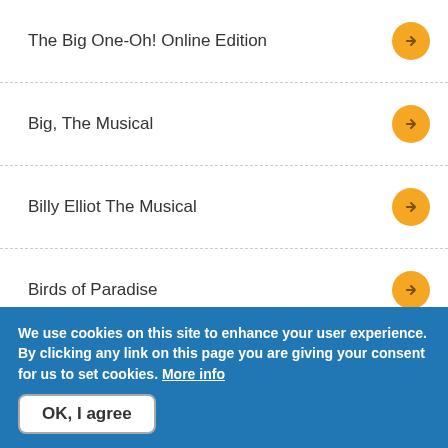The Big One-Oh! Online Edition
Big, The Musical
Billy Elliot The Musical
Birds of Paradise
We use cookies on this site to enhance your user experience. By clicking any link on this page you are giving your consent for us to set cookies. More info
OK, I agree